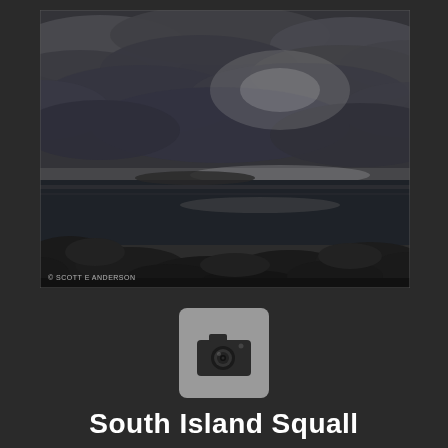[Figure (photo): Dramatic coastal landscape photo showing stormy overcast sky with dark clouds and a hint of sunlight breaking through over a calm dark sea. Rocky shoreline in the foreground. Copyright text reads: © SCOTT E ANDERSON]
[Figure (other): Camera icon on grey rounded square background]
South Island Squall